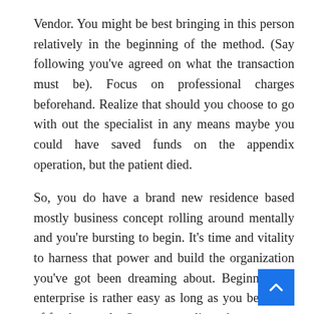Vendor. You might be best bringing in this person relatively in the beginning of the method. (Say following you've agreed on what the transaction must be). Focus on professional charges beforehand. Realize that should you choose to go with out the specialist in any means maybe you could have saved funds on the appendix operation, but the patient died.
So, you do have a brand new residence based mostly business concept rolling around mentally and you're bursting to begin. It's time and vitality to harness that power and build the organization you've got been dreaming about. Beginning an enterprise is rather easy as long as you be aware of fundamentals. Once you realize what you must caused by begin a company in the t..., then you possibly can create the business enterprise you